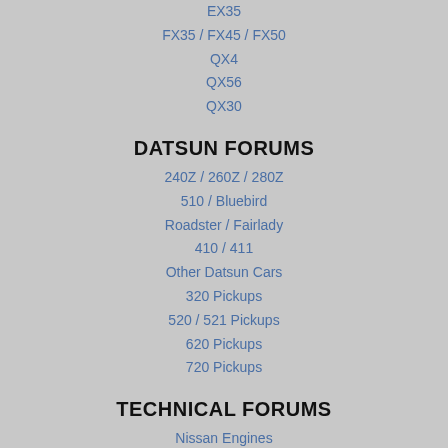EX35
FX35 / FX45 / FX50
QX4
QX56
QX30
DATSUN FORUMS
240Z / 260Z / 280Z
510 / Bluebird
Roadster / Fairlady
410 / 411
Other Datsun Cars
320 Pickups
520 / 521 Pickups
620 Pickups
720 Pickups
TECHNICAL FORUMS
Nissan Engines
Tuning
Wheels / Tires / Suspension
Audio and Security
Interiors
Detailing Forum
CLASSIFIEDS / MARKETPLACE